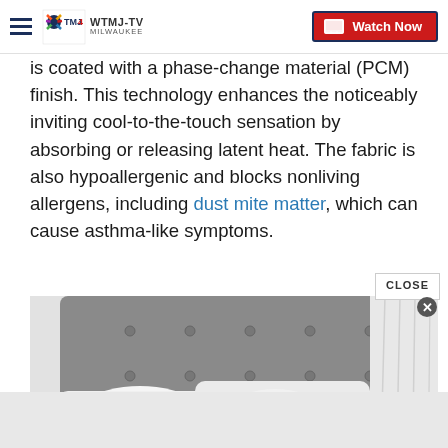WTMJ-TV MILWAUKEE | Watch Now
is coated with a phase-change material (PCM) finish. This technology enhances the noticeably inviting cool-to-the-touch sensation by absorbing or releasing latent heat. The fabric is also hypoallergenic and blocks nonliving allergens, including dust mite matter, which can cause asthma-like symptoms.
[Figure (photo): A bed with white pillows against a tufted gray upholstered headboard, with white curtain visible in background.]